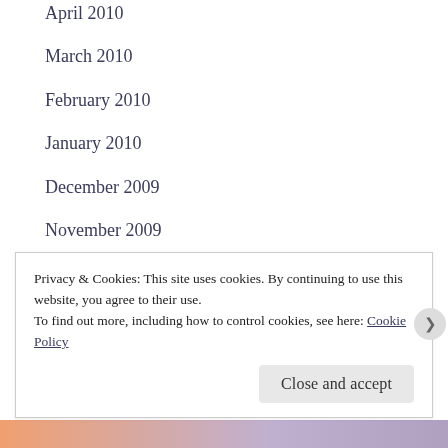April 2010
March 2010
February 2010
January 2010
December 2009
November 2009
October 2009
September 2009
August 2009
July 2009
Privacy & Cookies: This site uses cookies. By continuing to use this website, you agree to their use.
To find out more, including how to control cookies, see here: Cookie Policy
Close and accept